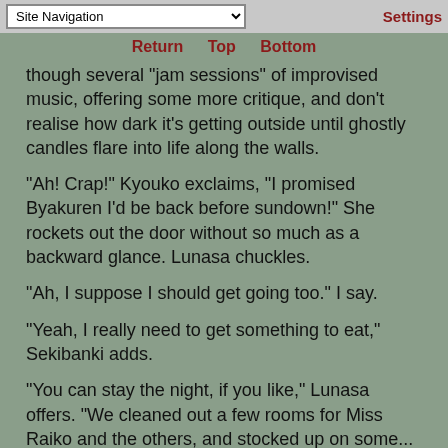Site Navigation | Settings
Return  Top  Bottom
though several "jam sessions" of improvised music, offering some more critique, and don't realise how dark it's getting outside until ghostly candles flare into life along the walls.
"Ah! Crap!" Kyouko exclaims, "I promised Byakuren I'd be back before sundown!" She rockets out the door without so much as a backward glance. Lunasa chuckles.
"Ah, I suppose I should get going too." I say.
"Yeah, I really need to get something to eat," Sekibanki adds.
"You can stay the night, if you like," Lunasa offers. "We cleaned out a few rooms for Miss Raiko and the others, and stocked up on some... more edible food."
"I wouldn't want to impose..."